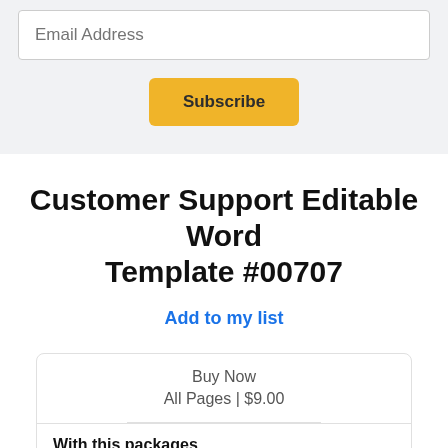Email Address
Subscribe
Customer Support Editable Word Template #00707
Add to my list
Buy Now
All Pages | $9.00
With this packages